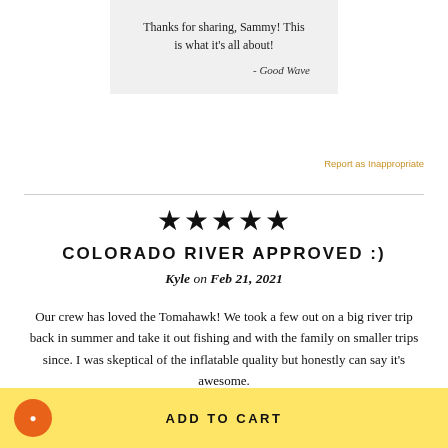Thanks for sharing, Sammy! This is what it's all about!
- Good Wave
Report as Inappropriate
★★★★★
COLORADO RIVER APPROVED :)
Kyle on Feb 21, 2021
Our crew has loved the Tomahawk! We took a few out on a big river trip back in summer and take it out fishing and with the family on smaller trips since. I was skeptical of the inflatable quality but honestly can say it's awesome.
ADD TO CART